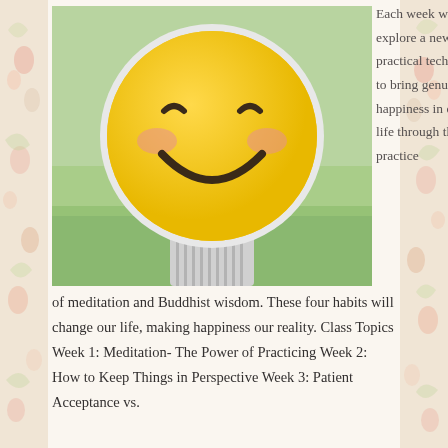[Figure (photo): Person holding a large round smiley face emoji sign with closed eyes and rosy cheeks, standing outdoors on grass. The emoji is yellow with a big smile.]
Each week we will explore a new, practical technique to bring genuine happiness in daily life through the practice of meditation and Buddhist wisdom. These four habits will change our life, making happiness our reality. Class Topics Week 1: Meditation- The Power of Practicing Week 2: How to Keep Things in Perspective Week 3: Patient Acceptance vs.